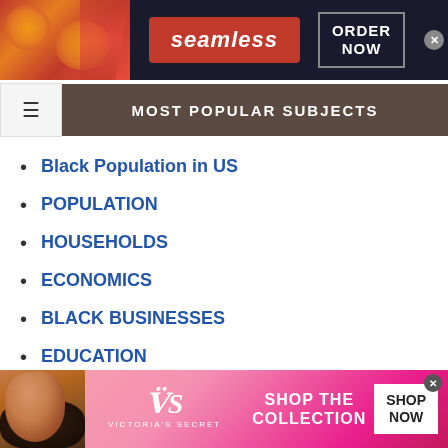[Figure (screenshot): Seamless food delivery advertisement banner with pizza image, red Seamless logo badge, and ORDER NOW button on dark background]
MOST POPULAR SUBJECTS
Black Population in US
POPULATION
HOUSEHOLDS
ECONOMICS
BLACK BUSINESSES
EDUCATION
HEALTH
CULTURE
[Figure (screenshot): Victoria's Secret advertisement banner with model, VS logo, SHOP THE COLLECTION text, and SHOP NOW button on pink gradient background]